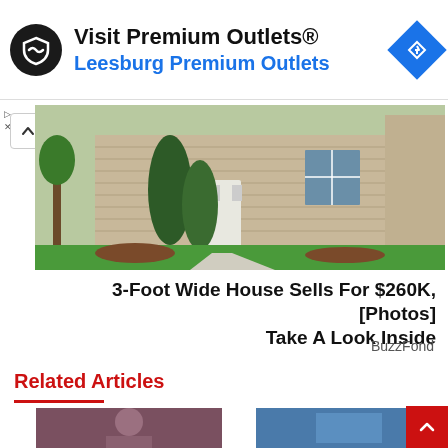[Figure (other): Advertisement banner: 'Visit Premium Outlets® / Leesburg Premium Outlets' with circular logo and blue navigation diamond icon]
[Figure (photo): Exterior photo of a suburban house with tan siding, white front door, evergreen shrubs, green lawn, and a concrete walkway]
3-Foot Wide House Sells For $260K, [Photos] Take A Look Inside
BuzzFond
Related Articles
[Figure (photo): Thumbnail of a man with gray hair against a purple background]
[Figure (photo): Thumbnail of a person in blue scrubs or medical clothing]